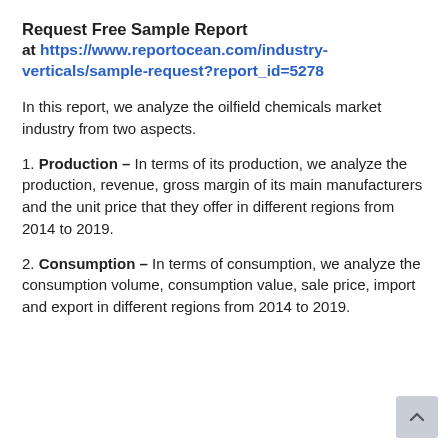Request Free Sample Report at https://www.reportocean.com/industry-verticals/sample-request?report_id=5278
In this report, we analyze the oilfield chemicals market industry from two aspects.
1. Production – In terms of its production, we analyze the production, revenue, gross margin of its main manufacturers and the unit price that they offer in different regions from 2014 to 2019.
2. Consumption – In terms of consumption, we analyze the consumption volume, consumption value, sale price, import and export in different regions from 2014 to 2019.